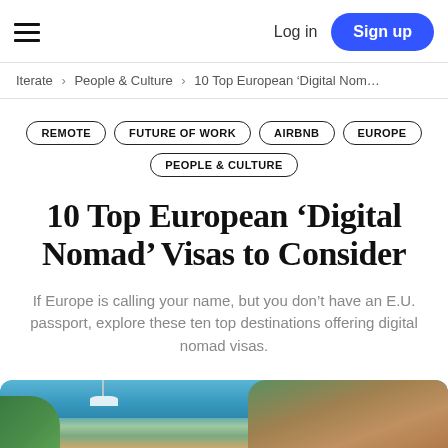Log in  Sign up
Iterate > People & Culture > 10 Top European 'Digital Nom…
REMOTE
FUTURE OF WORK
AIRBNB
EUROPE
PEOPLE & CULTURE
10 Top European 'Digital Nomad' Visas to Consider
If Europe is calling your name, but you don't have an E.U. passport, explore these ten top destinations offering digital nomad visas.
[Figure (photo): Coastal harbor scene with blue water, boats, green hills and colorful buildings on the right side]